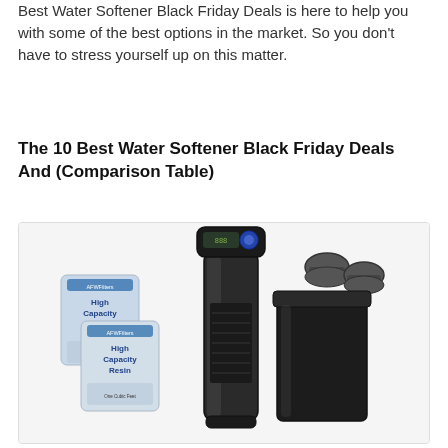Best Water Softener Black Friday Deals is here to help you with some of the best options in the market. So you don't have to stress yourself up on this matter.
The 10 Best Water Softener Black Friday Deals And (Comparison Table)
[Figure (photo): Product photo of a water softener system showing a tall black cylindrical tank with a digital control head on top, two bags of 'High Capacity Resin' on the left, pipe fittings/connectors in the upper right, and a black rectangular brine tank on the right.]